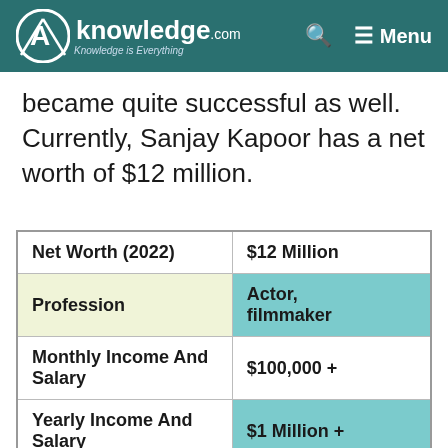AKnowledge.com — Knowledge is Everything | Search | Menu
became quite successful as well. Currently, Sanjay Kapoor has a net worth of $12 million.
| Net Worth (2022) | $12 Million |
| --- | --- |
| Profession | Actor, filmmaker |
| Monthly Income And Salary | $100,000 + |
| Yearly Income And Salary | $1 Million + |
| Last Updated | 2022 |